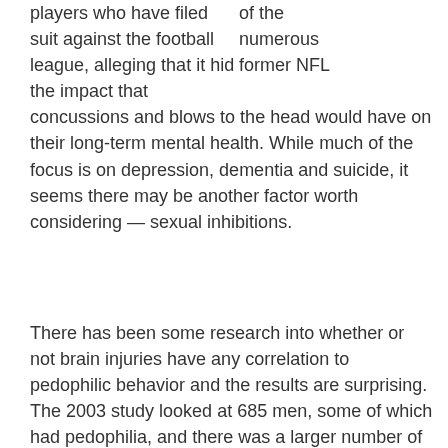of the numerous former NFL players who have filed suit against the football league, alleging that it hid the impact that concussions and blows to the head would have on their long-term mental health. While much of the focus is on depression, dementia and suicide, it seems there may be another factor worth considering — sexual inhibitions.
There has been some research into whether or not brain injuries have any correlation to pedophilic behavior and the results are surprising. The 2003 study looked at 685 men, some of which had pedophilia, and there was a larger number of men who had previously experienced some kind of head trauma who exhibited pedophilic behavior than those who did not exhibit such behavior. The head injuries certainly did not cause the pedophilia, but it likely played a role in lowering an individual's inhibitions to pedophilic behaviors.